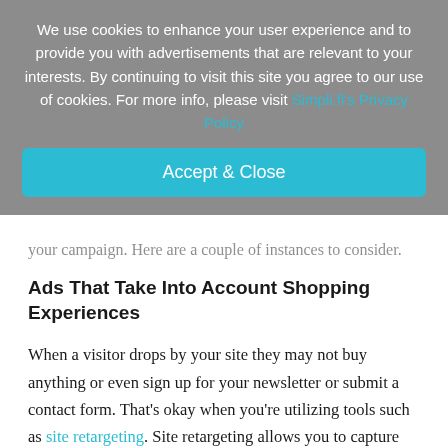We use cookies to enhance your user experience and to provide you with advertisements that are relevant to your interests. By continuing to visit this site you agree to our use of cookies. For more info, please visit Simpli.fi's Privacy Policy
Accept & Close
your campaign. Here are a couple of instances to consider.
Ads That Take Into Account Shopping Experiences
When a visitor drops by your site they may not buy anything or even sign up for your newsletter or submit a contact form. That's okay when you're utilizing tools such as site retargeting. Site retargeting allows you to capture data about that users as they leave your site and continue to browse the web. It also means you can continue to target them after they leave with your messaging. Unstructured data in site retargeting allows you to see which pages the user visited, which items they clicked on or put in their cart,